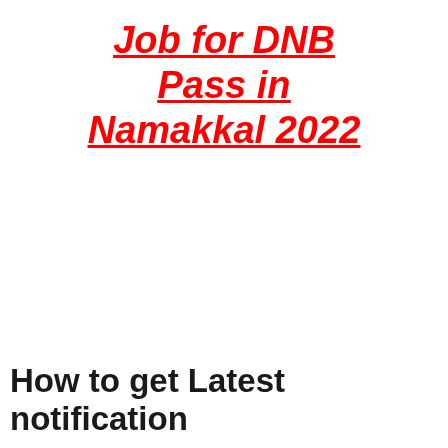Job for DNB Pass in Namakkal 2022
How to get Latest notification